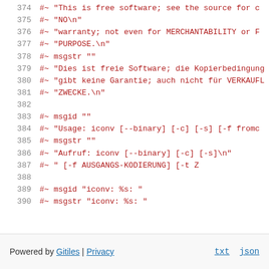374  #~ "This is free software; see the source for c
375  #~ "NO\n"
376  #~ "warranty; not even for MERCHANTABILITY or F
377  #~ "PURPOSE.\n"
378  #~ msgstr ""
379  #~ "Dies ist freie Software; die Kopierbedingung
380  #~ "gibt keine Garantie; auch nicht für VERKAUFL
381  #~ "ZWECKE.\n"
382
383  #~ msgid ""
384  #~ "Usage: iconv [--binary] [-c] [-s] [-f fromc
385  #~ msgstr ""
386  #~ "Aufruf: iconv [--binary] [-c] [-s]\n"
387  #~ "              [-f AUSGANGS-KODIERUNG] [-t Z
388
389  #~ msgid "iconv: %s: "
390  #~ msgstr "iconv: %s: "
Powered by Gitiles | Privacy    txt  json